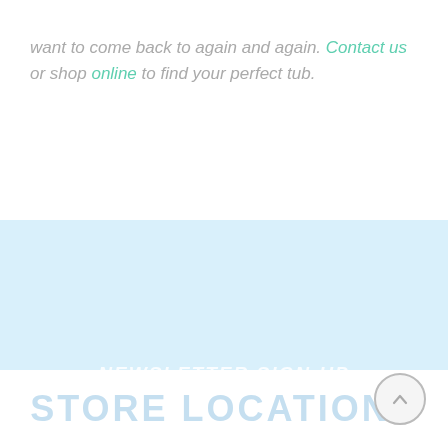want to come back to again and again. Contact us or shop online to find your perfect tub.
[Figure (other): Newsletter sign-up section with light blue background, email input field with subscribe button, heading 'NEWSLETTER SIGN-UP', and subtext 'Stay up-to-date with all of our upcoming sales and events!']
STORE LOCATIONS